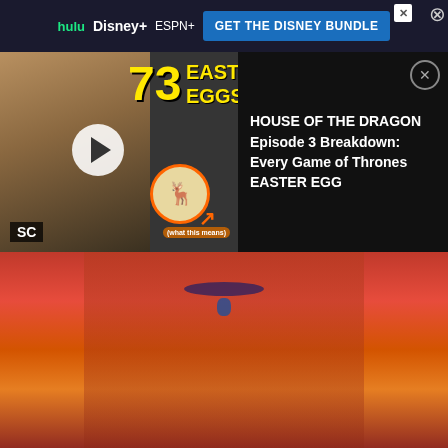[Figure (screenshot): Disney Bundle advertisement bar with Hulu, Disney+, ESPN+ logos and blue CTA button saying GET THE DISNEY BUNDLE]
[Figure (screenshot): Video overlay: left side shows a character thumbnail with play button, SC badge, and '73 EASTER EGGS' yellow text overlay; right side shows black panel with white text: HOUSE OF THE DRAGON Episode 3 Breakdown: Every Game of Thrones EASTER EGG]
[Figure (photo): A person wearing red and orange robes with a blue bead necklace, blurred background]
This exchange was more effective at characterizing David as a villain than any of his hippie cult-leader shenanigans, and when he went away to sulk about it, he felt more ids. It isn mental state: all-powerful psychic or not